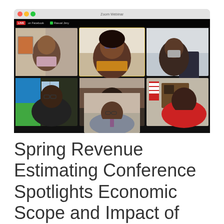[Figure (screenshot): Zoom webinar screenshot showing 6 participants in a video conference grid. Live stream banner visible. Participants include multiple individuals in a 3x2 grid layout with one highlighted in yellow border.]
Spring Revenue Estimating Conference Spotlights Economic Scope and Impact of